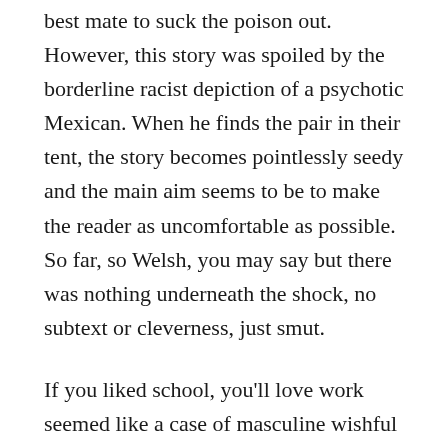best mate to suck the poison out. However, this story was spoiled by the borderline racist depiction of a psychotic Mexican. When he finds the pair in their tent, the story becomes pointlessly seedy and the main aim seems to be to make the reader as uncomfortable as possible. So far, so Welsh, you may say but there was nothing underneath the shock, no subtext or cleverness, just smut.
If you liked school, you'll love work seemed like a case of masculine wishful thinking. The narrator takes great pains to say that he isn't particularly attractive or slim, yet woman love him and despite some close calls, he never does get caught out. Nothing about this character or any of the women rang true. A series of stereotypes